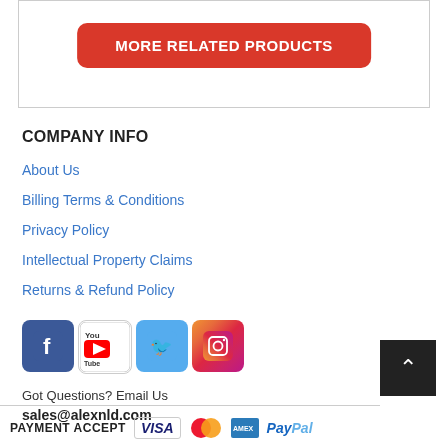[Figure (other): Red rounded button labeled MORE RELATED PRODUCTS inside a bordered box]
COMPANY INFO
About Us
Billing Terms & Conditions
Privacy Policy
Intellectual Property Claims
Returns & Refund Policy
[Figure (other): Social media icons: Facebook, YouTube, Twitter, Instagram]
Got Questions? Email Us
sales@alexnld.com
[Figure (other): Scroll to top button (dark square with up arrow)]
PAYMENT ACCEPT VISA [Mastercard] [Amex] PayPal